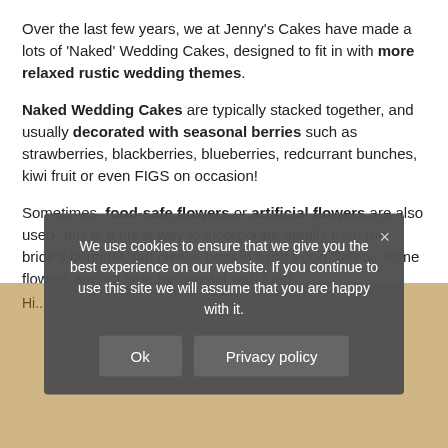Over the last few years, we at Jenny's Cakes have made a lots of 'Naked' Wedding Cakes, designed to fit in with more relaxed rustic wedding themes.
Naked Wedding Cakes are typically stacked together, and usually decorated with seasonal berries such as strawberries, blackberries, blueberries, redcurrant bunches, kiwi fruit or even FIGS on occasion!
Sometimes, food-safe flowers or artificial flowers are also used- this is a great way to incorporate details from the bride's bouquet, but please bear in mind Food Safety- some flowers are not safe for contact with food!
We use cookies to ensure that we give you the best experience on our website. If you continue to use this site we will assume that you are happy with it.